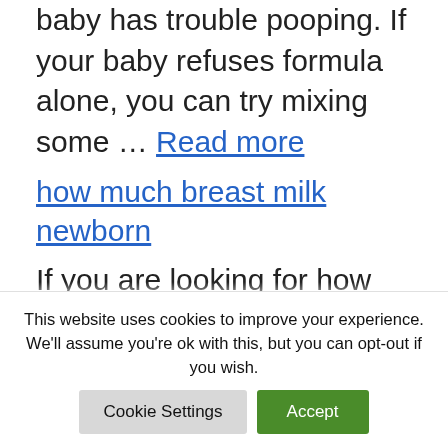baby has trouble pooping. If your baby refuses formula alone, you can try mixing some … Read more
how much breast milk newborn
If you are looking for how much breast milk newborn , simply check out our links below: How Much Breast Milk Should a Newborn Drink | Medela The amount of milk that a baby drinks from a single breast ranges anywhere from 30 – 135mL, though the average
This website uses cookies to improve your experience. We'll assume you're ok with this, but you can opt-out if you wish.